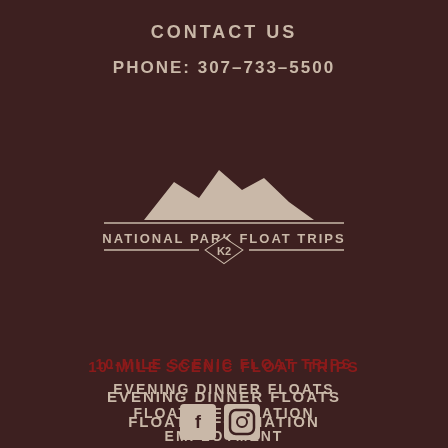CONTACT US
PHONE: 307-733-5500
[Figure (logo): National Park Float Trips logo with mountain silhouette, horizontal lines, and K2 diamond badge]
10-MILE SCENIC FLOAT TRIPS
EVENING DINNER FLOATS
FLOAT INFORMATION
EMPLOYMENT
CONTACT
[Figure (illustration): Two social media icons (Facebook and another) at the bottom of the page]